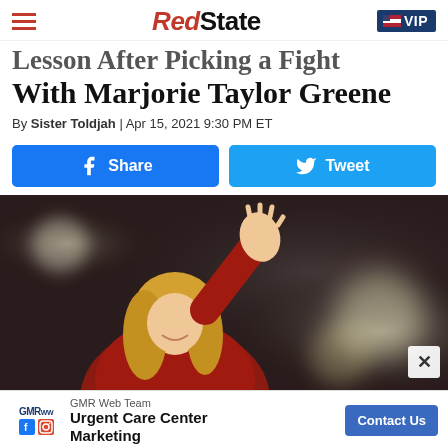RedState VIP
Lesson After Picking a Fight With Marjorie Taylor Greene
By Sister Toldjah | Apr 15, 2021 9:30 PM ET
[Figure (other): Facebook Share button and Twitter Tweet button]
[Figure (photo): Marjorie Taylor Greene wearing a red jacket, raising her right hand in a wave, photographed at night with blurry lights in the background]
[Figure (other): Advertisement: GMR Web Team - Urgent Care Center Marketing - Contact Us button]